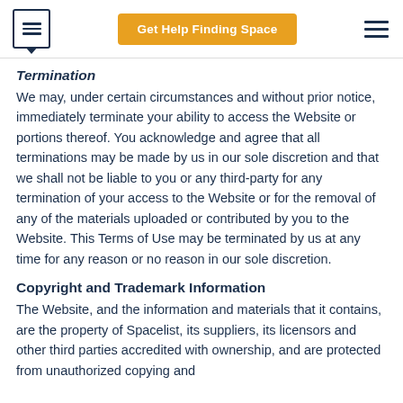Get Help Finding Space
Termination
We may, under certain circumstances and without prior notice, immediately terminate your ability to access the Website or portions thereof. You acknowledge and agree that all terminations may be made by us in our sole discretion and that we shall not be liable to you or any third-party for any termination of your access to the Website or for the removal of any of the materials uploaded or contributed by you to the Website. This Terms of Use may be terminated by us at any time for any reason or no reason in our sole discretion.
Copyright and Trademark Information
The Website, and the information and materials that it contains, are the property of Spacelist, its suppliers, its licensors and other third parties accredited with ownership, and are protected from unauthorized copying and